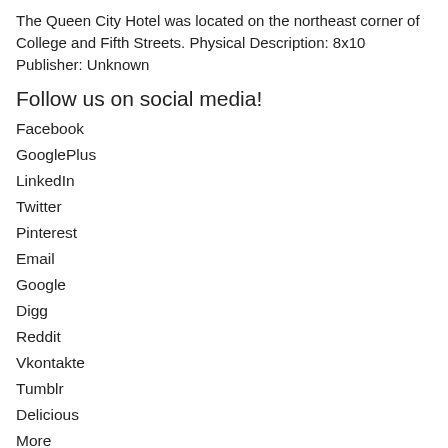The Queen City Hotel was located on the northeast corner of College and Fifth Streets. Physical Description: 8x10 Publisher: Unknown
Follow us on social media!
Facebook
GooglePlus
LinkedIn
Twitter
Pinterest
Email
Google
Digg
Reddit
Vkontakte
Tumblr
Delicious
More